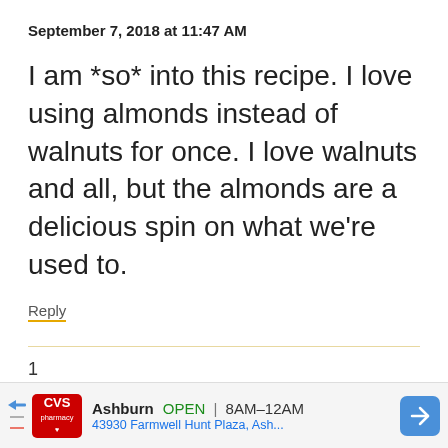September 7, 2018 at 11:47 AM
I am *so* into this recipe. I love using almonds instead of walnuts for once. I love walnuts and all, but the almonds are a delicious spin on what we're used to.
Reply
[Figure (screenshot): CVS Pharmacy advertisement bar at bottom: shows CVS logo, Ashburn location, OPEN 8AM-12AM, address 43930 Farmwell Hunt Plaza, Ash..., and blue navigation arrow icon]